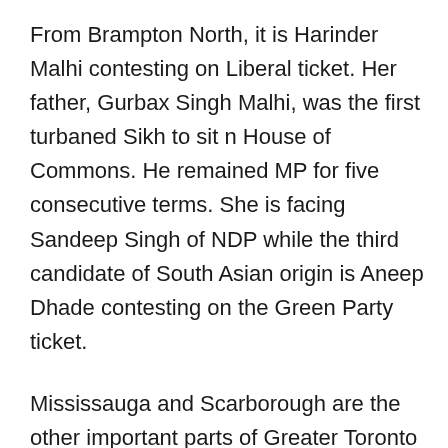From Brampton North, it is Harinder Malhi contesting on Liberal ticket. Her father, Gurbax Singh Malhi, was the first turbaned Sikh to sit n House of Commons. He remained MP for five consecutive terms. She is facing Sandeep Singh of NDP while the third candidate of South Asian origin is Aneep Dhade contesting on the Green Party ticket.
Mississauga and Scarborough are the other important parts of Greater Toronto Area that are represented both in provincial and federal parliaments by South Asian migrants.